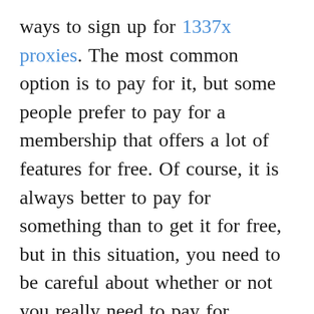ways to sign up for 1337x proxies. The most common option is to pay for it, but some people prefer to pay for a membership that offers a lot of features for free. Of course, it is always better to pay for something than to get it for free, but in this situation, you need to be careful about whether or not you really need to pay for anything.
Finally, it is always a good idea to make sure that you make as many searches as possible. You should try to find the best company for the best price, as well as find a company that is offering a large